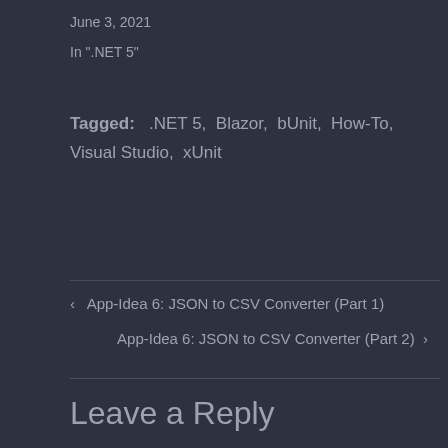June 3, 2021
In ".NET 5"
Tagged:   .NET 5,  Blazor,  bUnit,  How-To,  Visual Studio,  xUnit
‹  App-Idea 6: JSON to CSV Converter (Part 1)
App-Idea 6: JSON to CSV Converter (Part 2)  ›
Leave a Reply